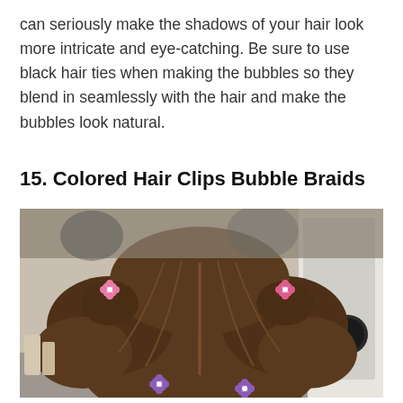can seriously make the shadows of your hair look more intricate and eye-catching. Be sure to use black hair ties when making the bubbles so they blend in seamlessly with the hair and make the bubbles look natural.
15. Colored Hair Clips Bubble Braids
[Figure (photo): A photo of a child's hair styled with bubble braids, held by colorful (pink and purple) flower hair clips, viewed from behind in what appears to be a hair salon.]